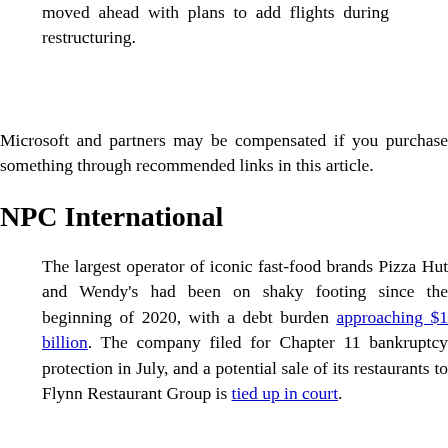moved ahead with plans to add flights during restructuring.
Microsoft and partners may be compensated if you purchase something through recommended links in this article.
NPC International
The largest operator of iconic fast-food brands Pizza Hut and Wendy's had been on shaky footing since the beginning of 2020, with a debt burden approaching $1 billion. The company filed for Chapter 11 bankruptcy protection in July, and a potential sale of its restaurants to Flynn Restaurant Group is tied up in court.